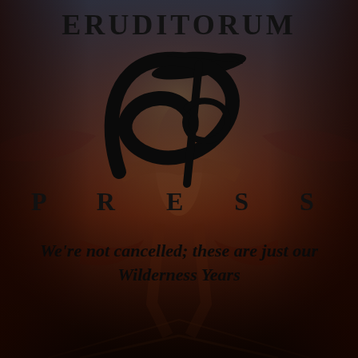[Figure (illustration): Background image: a dramatic painting in dark reddish-brown and golden tones depicting a muscular figure (likely William Blake's 'The Ancient of Days' or similar), with swirling clouds and beams of light radiating downward. The image is overlaid with a dark vignette, especially at the top and bottom edges.]
ERUDITORUM
[Figure (logo): Eruditorum Press stylized logo: a large cursive black 'Ep' monogram with flowing calligraphic strokes, the 'E' forming a large loop and the 'p' with a tall ascender, rendered in black ink style.]
PRESS
We're not cancelled; these are just our Wilderness Years